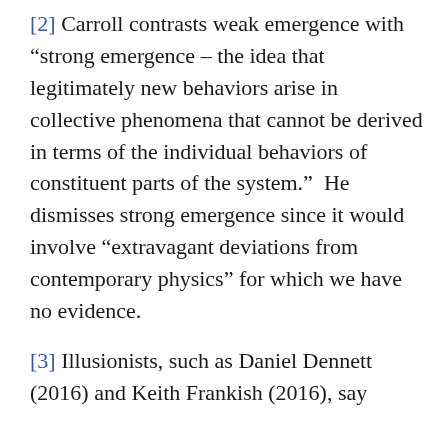[2] Carroll contrasts weak emergence with “strong emergence – the idea that legitimately new behaviors arise in collective phenomena that cannot be derived in terms of the individual behaviors of constituent parts of the system.”  He dismisses strong emergence since it would involve “extravagant deviations from contemporary physics” for which we have no evidence.
[3] Illusionists, such as Daniel Dennett (2016) and Keith Frankish (2016), say